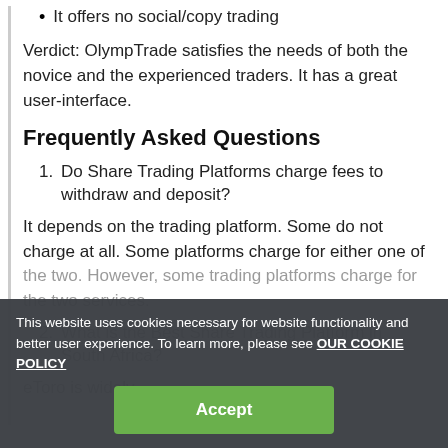It offers no social/copy trading
Verdict: OlympTrade satisfies the needs of both the novice and the experienced traders. It has a great user-interface.
Frequently Asked Questions
1. Do Share Trading Platforms charge fees to withdraw and deposit?
It depends on the trading platform. Some do not charge at all. Some platforms charge for either one of the two. However, some trading platforms charge for the two services.
2. What is the Best Share Trading Platform in South Africa?
eToro is widely regarded as the best because it offers great value at little cost. It allows you to open
This website uses cookies necessary for website functionality and better user experience. To learn more, please see OUR COOKIE POLICY
Accept